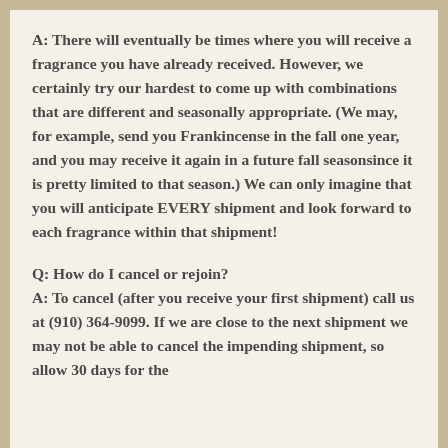A: There will eventually be times where you will receive a fragrance you have already received. However, we certainly try our hardest to come up with combinations that are different and seasonally appropriate. (We may, for example, send you Frankincense in the fall one year, and you may receive it again in a future fall seasonsince it is pretty limited to that season.) We can only imagine that you will anticipate EVERY shipment and look forward to each fragrance within that shipment!
Q: How do I cancel or rejoin? A: To cancel (after you receive your first shipment) call us at (910) 364-9099. If we are close to the next shipment we may not be able to cancel the impending shipment, so allow 30 days for the